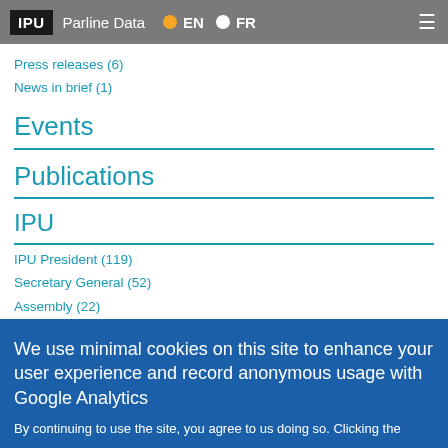IPU | Parline Data | EN | FR
Press releases (6)
News in brief (1)
Events
Publications
IPU
IPU President (119)
Secretary General (52)
Assembly (22)
(-) Executive Committee (2)
Governing council (17)
Advisory Group on Health (7)
(-) Committee on Middle East Questions (5)
We use minimal cookies on this site to enhance your user experience and record anonymous usage with Google Analytics
By continuing to use the site, you agree to us doing so. Clicking the